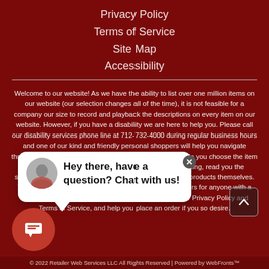Privacy Policy
Terms of Service
Site Map
Accessibility
Welcome to our website! As we have the ability to list over one million items on our website (our selection changes all of the time), it is not feasible for a company our size to record and playback the descriptions on every item on our website. However, if you have a disability we are here to help you. Please call our disability services phone line at 712-732-4000 during regular business hours and one of our kind and friendly personal shoppers will help you navigate through our website, help conduct advanced searches, help you choose the item you are looking for with the specifications you are seeking, read you the specifications of any item and consult with you about the products themselves. There is no charge for the help of these personal shoppers for anyone with a disability. Finally, your personal shopper will explain our Privacy Policy and Terms of Service, and help you place an order if you so desire.
[Figure (other): Chat popup widget with avatar photo and text: Hey there, have a question? Chat with us!]
© 2022 Retailer Web Services LLC All Rights Reserved | Powered by WebFronts™